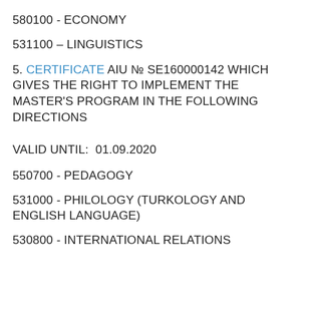580100 - ECONOMY
531100 – LINGUISTICS
5. CERTIFICATE AIU № SE160000142 WHICH GIVES THE RIGHT TO IMPLEMENT THE MASTER'S PROGRAM IN THE FOLLOWING DIRECTIONS
VALID UNTIL: 01.09.2020
550700 - PEDAGOGY
531000 - PHILOLOGY (TURKOLOGY AND ENGLISH LANGUAGE)
530800 - INTERNATIONAL RELATIONS